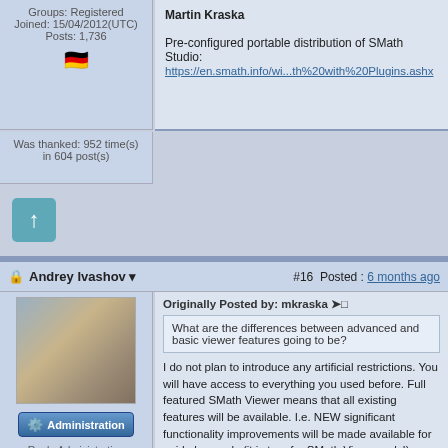Groups: Registered
Joined: 15/04/2012(UTC)
Posts: 1,736
Was thanked: 952 time(s) in 604 post(s)
Martin Kraska
Pre-configured portable distribution of SMath Studio: https://en.smath.info/wi...th%20with%20Plugins.ashx
Andrey Ivashov
#16 Posted : 6 months ago
Originally Posted by: mkraska
What are the differences between advanced and basic viewer features going to be?
I do not plan to introduce any artificial restrictions. You will have access to everything you used before. Full featured SMath Viewer means that all existing features will be available. I.e. NEW significant functionality improvements will be made available for paid plans only (it is true for SMath Viewer only!).
Originally Posted by: mkraska
Cloud version is not mentioned in the free version. Does that imply no access in that case? What will happen to existing sheets in the cloud?
Rank: Administration
Groups: Developers, Registered, Knovel Developers,